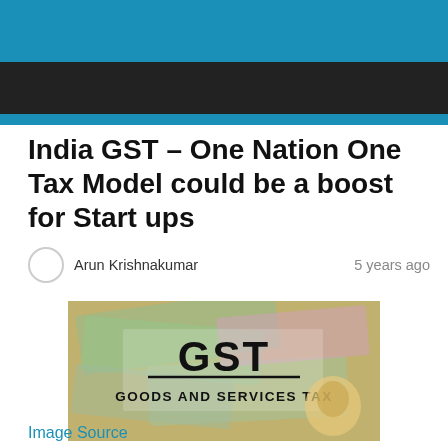India GST – One Nation One Tax Model could be a boost for Start ups
Arun Krishnakumar    5 years ago
[Figure (photo): Image of Indian currency notes with text overlay reading 'GST - GOODS AND SERVICES TAX']
Image Source